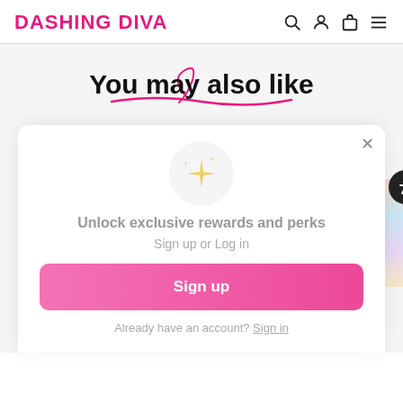DASHING DIVA
You may also like
Unlock exclusive rewards and perks
Sign up or Log in
Sign up
Already have an account? Sign in